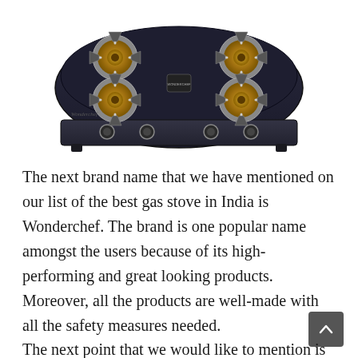[Figure (photo): A black glass-top 4-burner gas stove by Wonderchef with brass burners, chrome pan supports, and four control knobs on the front.]
The next brand name that we have mentioned on our list of the best gas stove in India is Wonderchef. The brand is one popular name amongst the users because of its high-performing and great looking products. Moreover, all the products are well-made with all the safety measures needed.